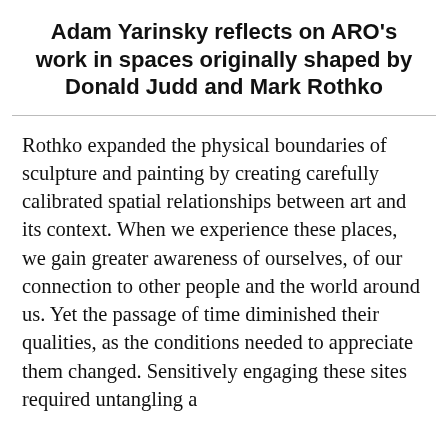Adam Yarinsky reflects on ARO's work in spaces originally shaped by Donald Judd and Mark Rothko
Rothko expanded the physical boundaries of sculpture and painting by creating carefully calibrated spatial relationships between art and its context. When we experience these places, we gain greater awareness of ourselves, of our connection to other people and the world around us. Yet the passage of time diminished their qualities, as the conditions needed to appreciate them changed. Sensitively engaging these sites required untangling a